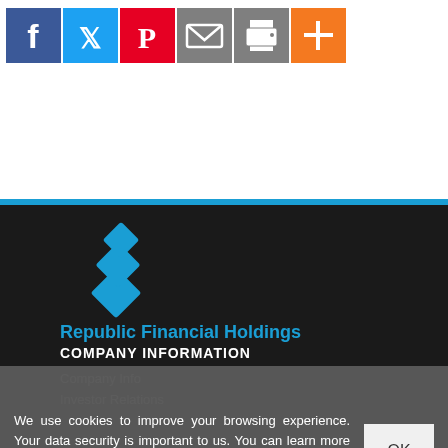[Figure (infographic): Social sharing icons: Facebook (blue), Twitter (blue), Pinterest (red), Email (grey), Print (grey), More/Plus (orange)]
[Figure (logo): Republic Financial Holdings logo: blue diamond/rhombus stacked shapes icon above the text 'Republic Financial Holdings' in blue]
COMPANY INFORMATION
Company Info
Investor Relations
We use cookies to improve your browsing experience. Your data security is important to us. You can learn more by reading our Data Privacy Policy. By continuing to browse our website, you consent to our use of cookies.